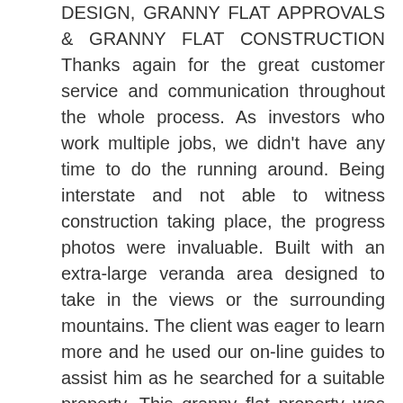DESIGN, GRANNY FLAT APPROVALS & GRANNY FLAT CONSTRUCTION Thanks again for the great customer service and communication throughout the whole process. As investors who work multiple jobs, we didn't have any time to do the running around. Being interstate and not able to witness construction taking place, the progress photos were invaluable. Built with an extra-large veranda area designed to take in the views or the surrounding mountains. The client was eager to learn more and he used our on-line guides to assist him as he searched for a suitable property. This granny flat property was purchased with a strict mindset to building a new detached dwelling in mind. Thanks. All work is covered by I Construction Groups Builders Warranty Insurance for 7 years Subject to complying development and contracts. I am looking forward to securing a second home with you. What are the Minimum Requirements for a Granny Flat on my Property as a Complying Development?